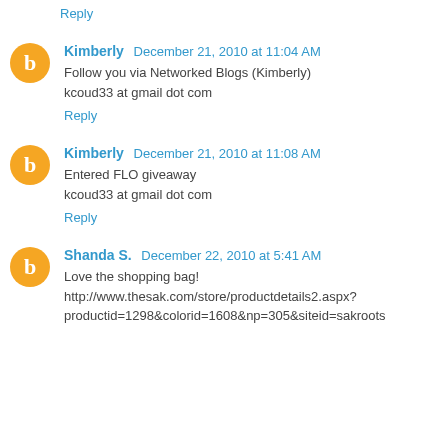Reply
Kimberly December 21, 2010 at 11:04 AM
Follow you via Networked Blogs (Kimberly)
kcoud33 at gmail dot com
Reply
Kimberly December 21, 2010 at 11:08 AM
Entered FLO giveaway
kcoud33 at gmail dot com
Reply
Shanda S. December 22, 2010 at 5:41 AM
Love the shopping bag!
http://www.thesak.com/store/productdetails2.aspx?productid=1298&colorid=1608&np=305&siteid=sakroots